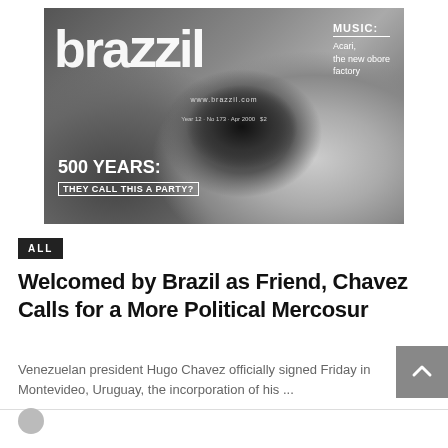[Figure (photo): Black and white magazine cover of 'brazzil' magazine showing a close-up face with an eye prominent. Text includes 'MUSIC: Acari, the new obore factory', 'www.brazzil.com', 'Year 12 · No 173 · Apr 2000 $2', '500 YEARS: THEY CALL THIS A PARTY?']
ALL
Welcomed by Brazil as Friend, Chavez Calls for a More Political Mercosur
Venezuelan president Hugo Chavez officially signed Friday in Montevideo, Uruguay, the incorporation of his ...